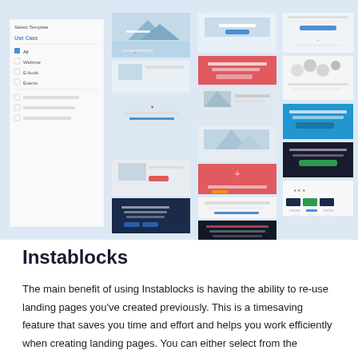[Figure (screenshot): A UI screenshot showing a landing page template selector with a sidebar on the left listing 'Select Template' and 'Use Case' filters (All, Webinar, E-book, Events, and several more), and three columns of template previews showing various landing page designs with hero images, colored sections in blue, red/coral, dark, and white.]
Instablocks
The main benefit of using Instablocks is having the ability to re-use landing pages you've created previously. This is a timesaving feature that saves you time and effort and helps you work efficiently when creating landing pages. You can either select from the Instablock templates or create your own and save it as your own to use in the future. Moreover, you can save the landing page